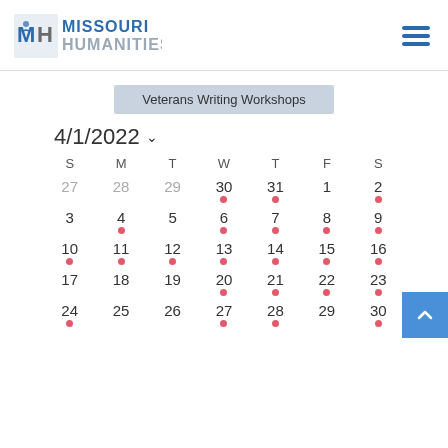[Figure (logo): Missouri Humanities logo with MH monogram in blue and text MISSOURI HUMANITIES]
[Figure (other): Hamburger menu icon with three blue horizontal lines]
Veterans Writing Workshops
4/1/2022
| S | M | T | W | T | F | S |
| --- | --- | --- | --- | --- | --- | --- |
| 27 | 28 | 29 | 30• | 31• | 1 | 2• |
| 3 | 4• | 5 | 6• | 7• | 8• | 9• |
| 10• | 11• | 12• | 13• | 14• | 15• | 16• |
| 17 | 18 | 19 | 20• | 21• | 22• | 23• |
| 24• | 25 | 26 | 27• | 28• | 29 | 30• |